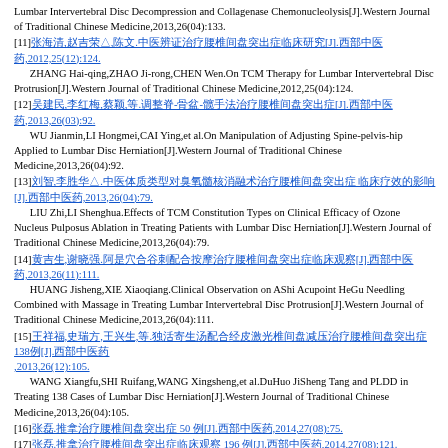Lumbar Intervertebral Disc Decompression and Collagenase Chemonucleolysis[J].Western Journal of Traditional Chinese Medicine,2013,26(04):133.
[11]张海清,赵吉荣△,陈文.中医辨证治疗腰椎间盘突出症临床研究[J].西部中医药,2012,25(12):124. ZHANG Hai-qing,ZHAO Ji-rong,CHEN Wen.On TCM Therapy for Lumbar Intervertebral Disc Protrusion[J].Western Journal of Traditional Chinese Medicine,2012,25(04):124.
[12]吴建民,李红梅,蔡颖,等.调整脊-骨盆-髋手法治疗腰椎间盘突出症[J].西部中医药,2013,26(03):92. WU Jianmin,LI Hongmei,CAI Ying,et al.On Manipulation of Adjusting Spine-pelvis-hip Applied to Lumbar Disc Herniation[J].Western Journal of Traditional Chinese Medicine,2013,26(04):92.
[13]刘智,李胜华△.中医体质类型对臭氧髓核消融术治疗腰椎间盘突出症临床疗效的影响[J].西部中医药,2013,26(04):79. LIU Zhi,LI Shenghua.Effects of TCM Constitution Types on Clinical Efficacy of Ozone Nucleus Pulposus Ablation in Treating Patients with Lumbar Disc Herniation[J].Western Journal of Traditional Chinese Medicine,2013,26(04):79.
[14]黄吉生,谢晓强.阿是穴合谷刺配合按摩治疗腰椎间盘突出症临床观察[J].西部中医药,2013,26(11):111. HUANG Jisheng,XIE Xiaoqiang.Clinical Observation on AShi Acupoint HeGu Needling Combined with Massage in Treating Lumbar Intervertebral Disc Protrusion[J].Western Journal of Traditional Chinese Medicine,2013,26(04):111.
[15]王祥福,史瑞方,王兴生,等.独活寄生汤配合经皮激光椎间盘减压治疗腰椎间盘突出症138例[J].西部中医药,2013,26(12):105. WANG Xiangfu,SHI Ruifang,WANG Xingsheng,et al.DuHuo JiSheng Tang and PLDD in Treating 138 Cases of Lumbar Disc Herniation[J].Western Journal of Traditional Chinese Medicine,2013,26(04):105.
[16]张磊.推拿治疗腰椎间盘突出症 50 例[J].西部中医药,2014,27(08):75.
[17]张磊.推拿治疗腰椎间盘突出症临床观察 196 例[J].西部中医药,2014,27(08):121.
[18]杨金山,赵吉荣△,陈文.腰椎间盘突出症与TNF-α、IL-1β相关性研究[J].西部中医药,2015,28(04):103.